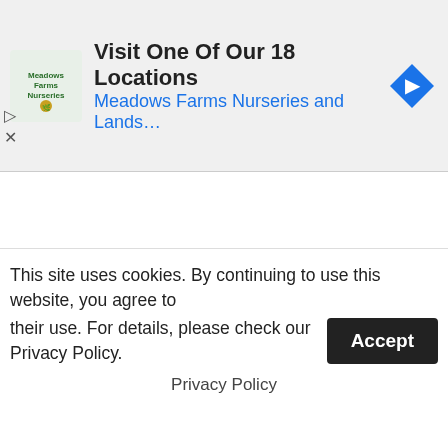[Figure (other): Advertisement banner for Meadows Farms Nurseries and Landscaping with logo, text 'Visit One Of Our 18 Locations', subtitle 'Meadows Farms Nurseries and Lands...', navigation icon, and close/skip controls]
e so many wondrous and majestic sights to see. There are beautiful sunsets, flowers in full bloom, and in this case a jerk owl pooping on his best buddy! 🙂
These 2 owls must be pretty good friends if this is how they treat each other. We all do weird stuff with our friends but this has to be some of the weirdest friendship moments I have ever seen.  The look on the owls face after he realizes that he just got pooped on is absolutely priceless.
I had to watch this twice because it's just so ridiculous.  I just
This site uses cookies. By continuing to use this website, you agree to their use. For details, please check our Privacy Policy.
Privacy Policy